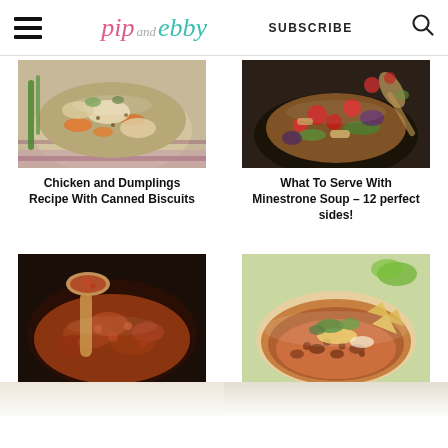pip and ebby — SUBSCRIBE
[Figure (photo): Bowl of chicken and dumplings soup with carrots and herbs on a striped cloth]
Chicken and Dumplings Recipe With Canned Biscuits
[Figure (photo): Bowl of minestrone soup with colorful vegetables, tomatoes, and pasta]
What To Serve With Minestrone Soup – 12 perfect sides!
[Figure (photo): Wooden spoon scooping ground meat bolognese from a dark pot]
[Figure (photo): Bowl of taco soup or chili with meat, beans, cheese and cilantro garnish]